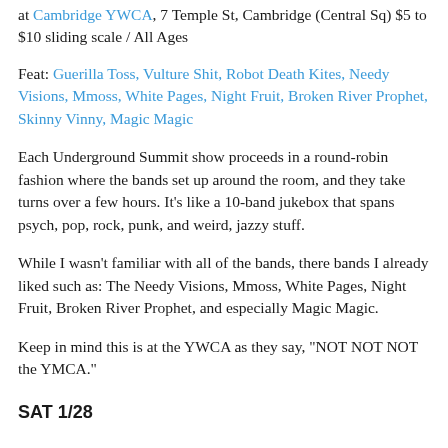at Cambridge YWCA, 7 Temple St, Cambridge (Central Sq) $5 to $10 sliding scale / All Ages
Feat: Guerilla Toss, Vulture Shit, Robot Death Kites, Needy Visions, Mmoss, White Pages, Night Fruit, Broken River Prophet, Skinny Vinny, Magic Magic
Each Underground Summit show proceeds in a round-robin fashion where the bands set up around the room, and they take turns over a few hours. It's like a 10-band jukebox that spans psych, pop, rock, punk, and weird, jazzy stuff.
While I wasn't familiar with all of the bands, there bands I already liked such as: The Needy Visions, Mmoss, White Pages, Night Fruit, Broken River Prophet, and especially Magic Magic.
Keep in mind this is at the YWCA as they say, "NOT NOT NOT the YMCA."
SAT 1/28